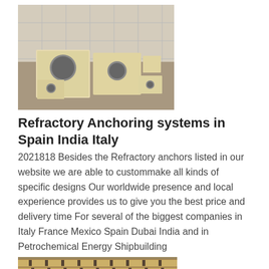[Figure (photo): Refractory blocks/bricks of various sizes stacked on a grey concrete floor, showing cylindrical holes drilled through them, pale yellow-cream colored ceramic material.]
Refractory Anchoring systems in Spain India Italy
2021818 Besides the Refractory anchors listed in our website we are able to custommake all kinds of specific designs Our worldwide presence and local experience provides us to give you the best price and delivery time For several of the biggest companies in Italy France Mexico Spain Dubai India and in Petrochemical Energy Shipbuilding
[Figure (photo): Stacked pale cream/tan refractory bricks with rectangular slots/cuts arranged in neat rows, viewed from the side.]